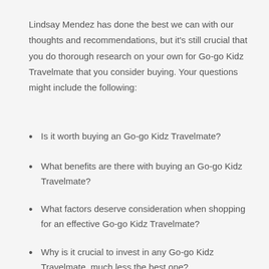Lindsay Mendez has done the best we can with our thoughts and recommendations, but it's still crucial that you do thorough research on your own for Go-go Kidz Travelmate that you consider buying. Your questions might include the following:
Is it worth buying an Go-go Kidz Travelmate?
What benefits are there with buying an Go-go Kidz Travelmate?
What factors deserve consideration when shopping for an effective Go-go Kidz Travelmate?
Why is it crucial to invest in any Go-go Kidz Travelmate, much less the best one?